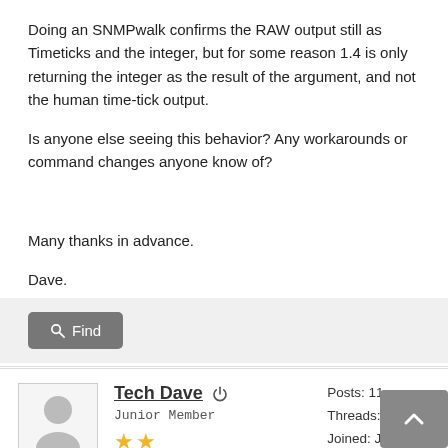Doing an SNMPwalk confirms the RAW output still as Timeticks and the integer, but for some reason 1.4 is only returning the integer as the result of the argument, and not the human time-tick output.

Is anyone else seeing this behavior? Any workarounds or command changes anyone know of?

Many thanks in advance.

Dave.
Find
Tech Dave
Junior Member
Posts: 11
Threads: 0
Joined: Jun 2018
Reputation: 1